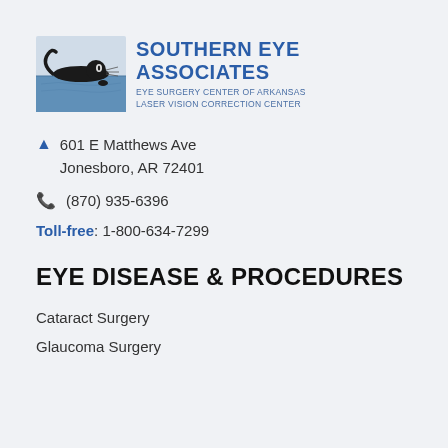[Figure (logo): Southern Eye Associates logo with stylized eye image and text: SOUTHERN EYE ASSOCIATES, EYE SURGERY CENTER OF ARKANSAS, LASER VISION CORRECTION CENTER]
601 E Matthews Ave
Jonesboro, AR 72401
(870) 935-6396
Toll-free: 1-800-634-7299
EYE DISEASE & PROCEDURES
Cataract Surgery
Glaucoma Surgery